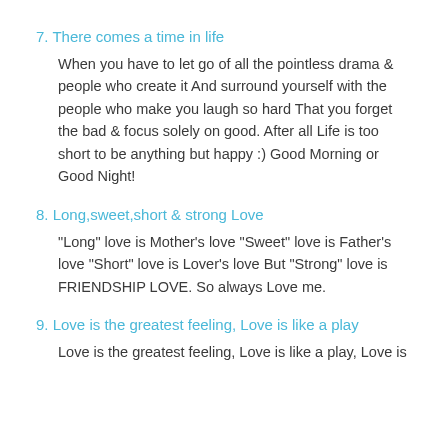7. There comes a time in life
When you have to let go of all the pointless drama & people who create it And surround yourself with the people who make you laugh so hard That you forget the bad & focus solely on good. After all Life is too short to be anything but happy :) Good Morning or Good Night!
8. Long,sweet,short & strong Love
"Long" love is Mother's love "Sweet" love is Father's love "Short" love is Lover's love But "Strong" love is FRIENDSHIP LOVE. So always Love me.
9. Love is the greatest feeling, Love is like a play
Love is the greatest feeling, Love is like a play, Love is